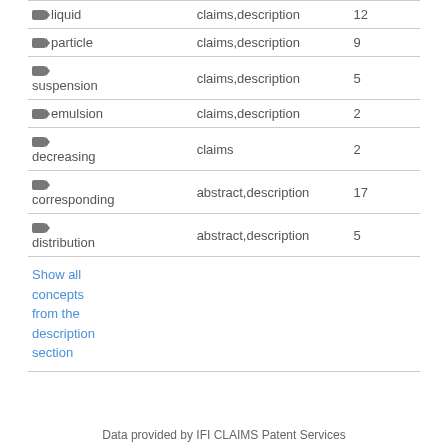| Term | Section | Count |
| --- | --- | --- |
| liquid | claims,description | 12 |
| particle | claims,description | 9 |
| suspension | claims,description | 5 |
| emulsion | claims,description | 2 |
| decreasing | claims | 2 |
| corresponding | abstract,description | 17 |
| distribution | abstract,description | 5 |
Show all concepts from the description section
Data provided by IFI CLAIMS Patent Services